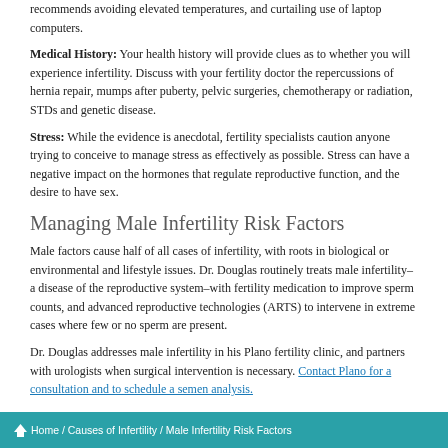recommends avoiding elevated temperatures, and curtailing use of laptop computers.
Medical History: Your health history will provide clues as to whether you will experience infertility. Discuss with your fertility doctor the repercussions of hernia repair, mumps after puberty, pelvic surgeries, chemotherapy or radiation, STDs and genetic disease.
Stress: While the evidence is anecdotal, fertility specialists caution anyone trying to conceive to manage stress as effectively as possible. Stress can have a negative impact on the hormones that regulate reproductive function, and the desire to have sex.
Managing Male Infertility Risk Factors
Male factors cause half of all cases of infertility, with roots in biological or environmental and lifestyle issues. Dr. Douglas routinely treats male infertility–a disease of the reproductive system–with fertility medication to improve sperm counts, and advanced reproductive technologies (ARTS) to intervene in extreme cases where few or no sperm are present.
Dr. Douglas addresses male infertility in his Plano fertility clinic, and partners with urologists when surgical intervention is necessary. Contact Plano for a consultation and to schedule a semen analysis.
Home / Causes of Infertility / Male Infertility Risk Factors